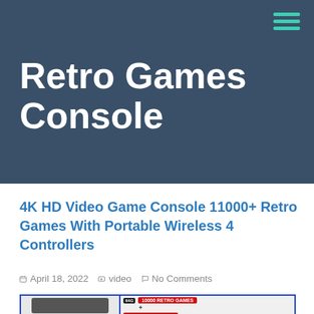Retro Games Console
4K HD Video Game Console 11000+ Retro Games With Portable Wireless 4 Controllers
April 18, 2022   video   No Comments
[Figure (screenshot): Product preview image of a retro game console with labels showing 10000 retro games and 64G storage badge]